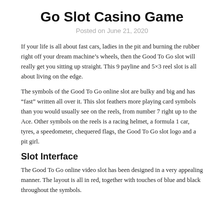Go Slot Casino Game
Posted on June 21, 2020
If your life is all about fast cars, ladies in the pit and burning the rubber right off your dream machine’s wheels, then the Good To Go slot will really get you sitting up straight. This 9 payline and 5×3 reel slot is all about living on the edge.
The symbols of the Good To Go online slot are bulky and big and has “fast” written all over it. This slot feathers more playing card symbols than you would usually see on the reels, from number 7 right up to the Ace. Other symbols on the reels is a racing helmet, a formula 1 car, tyres, a speedometer, chequered flags, the Good To Go slot logo and a pit girl.
Slot Interface
The Good To Go online video slot has been designed in a very appealing manner. The layout is all in red, together with touches of blue and black throughout the symbols.